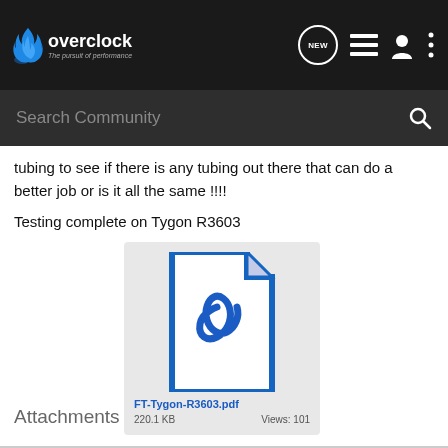overclock - The pursuit of performance
Search Community
tubing to see if there is any tubing out there that can do a better job or is it all the same !!!!
Testing complete on Tygon R3603
Attachments
[Figure (other): PDF file attachment icon for FT-Tygon-R3603.pdf, 220.1 KB, Views: 101]